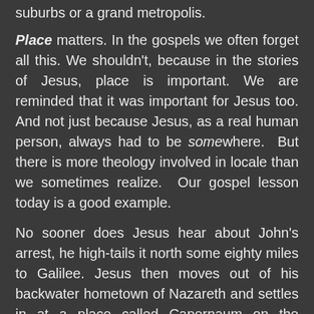suburbs or a grand metropolis.
Place matters. In the gospels we often forget all this. We shouldn't, because in the stories of Jesus, place is important. We are reminded that it was important for Jesus too. And not just because Jesus, as a real human person, always had to be somewhere. But there is more theology involved in locale than we sometimes realize. Our gospel lesson today is a good example.
No sooner does Jesus hear about John's arrest, he high-tails it north some eighty miles to Galilee. Jesus then moves out of his backwater hometown of Nazareth and settles in at a place called Capernaum on the northern shore of the Sea of Galilee. In other words, eighty miles may not sound like much to those of us accustomed